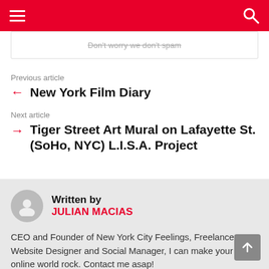Navigation header with hamburger menu and search icon
Don't worry we don't spam
Previous article
New York Film Diary
Next article
Tiger Street Art Mural on Lafayette St. (SoHo, NYC) L.I.S.A. Project
Written by JULIAN MACIAS
CEO and Founder of New York City Feelings, Freelance Website Designer and Social Manager, I can make your online world rock. Contact me asap!